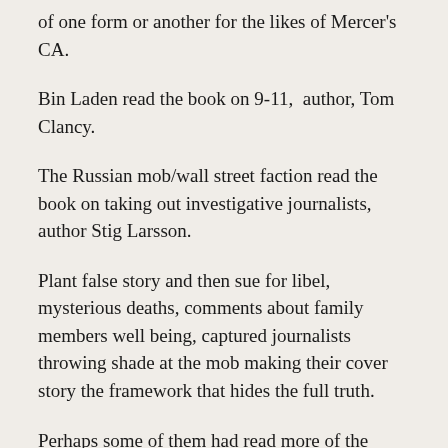of one form or another for the likes of Mercer's CA.
Bin Laden read the book on 9-11,  author, Tom Clancy.
The Russian mob/wall street faction read the book on taking out investigative journalists,  author Stig Larsson.
Plant false story and then sue for libel, mysterious deaths, comments about family members well being, captured journalists throwing shade at the mob making their cover story the framework that hides the full truth.
Perhaps some of them had read more of the book and allegedly hired themselves out to the C...